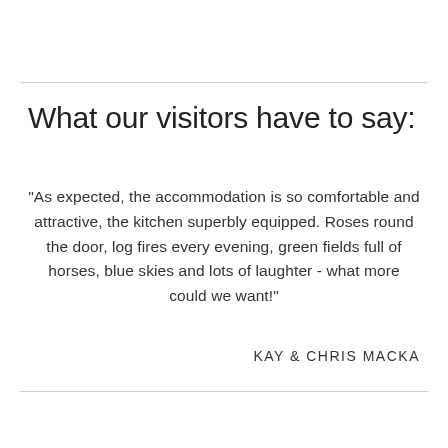What our visitors have to say:
"As expected, the accommodation is so comfortable and attractive, the kitchen superbly equipped. Roses round the door, log fires every evening, green fields full of horses, blue skies and lots of laughter - what more could we want!"
KAY & CHRIS MACKA